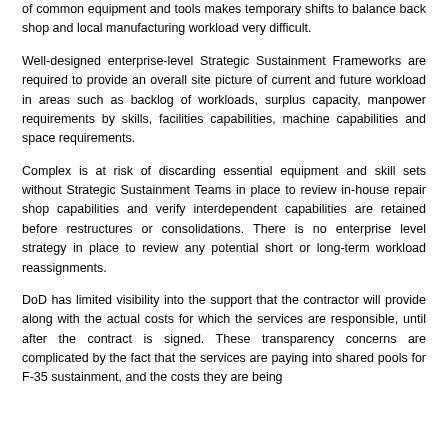of common equipment and tools makes temporary shifts to balance back shop and local manufacturing workload very difficult.
Well-designed enterprise-level Strategic Sustainment Frameworks are required to provide an overall site picture of current and future workload in areas such as backlog of workloads, surplus capacity, manpower requirements by skills, facilities capabilities, machine capabilities and space requirements.
Complex is at risk of discarding essential equipment and skill sets without Strategic Sustainment Teams in place to review in-house repair shop capabilities and verify interdependent capabilities are retained before restructures or consolidations. There is no enterprise level strategy in place to review any potential short or long-term workload reassignments.
DoD has limited visibility into the support that the contractor will provide along with the actual costs for which the services are responsible, until after the contract is signed. These transparency concerns are complicated by the fact that the services are paying into shared pools for F-35 sustainment, and the costs they are being